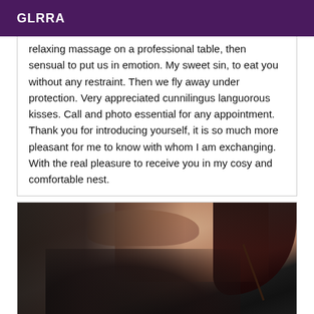GLRRA
relaxing massage on a professional table, then sensual to put us in emotion. My sweet sin, to eat you without any restraint. Then we fly away under protection. Very appreciated cunnilingus languorous kisses. Call and photo essential for any appointment. Thank you for introducing yourself, it is so much more pleasant for me to know with whom I am exchanging. With the real pleasure to receive you in my cosy and comfortable nest.
[Figure (photo): Blurred close-up photo of a person wearing black lingerie, holding what appears to be a stick or rod, with hair visible on the right side.]